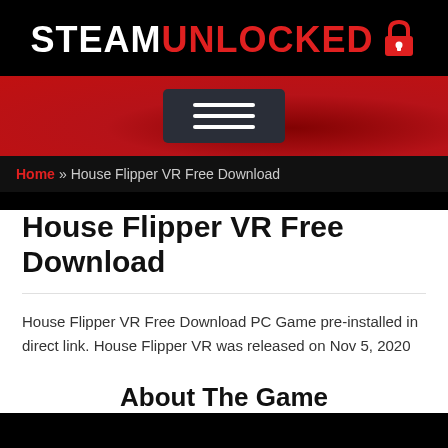STEAMUNLOCKED
[Figure (screenshot): Red banner navigation bar with hamburger menu button]
Home » House Flipper VR Free Download
House Flipper VR Free Download
House Flipper VR Free Download PC Game pre-installed in direct link. House Flipper VR was released on Nov 5, 2020
About The Game